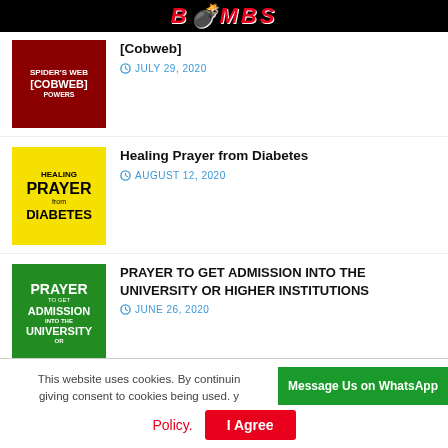BOMBS
[Cobweb] — JULY 29, 2020
Healing Prayer from Diabetes — AUGUST 12, 2020
PRAYER TO GET ADMISSION INTO THE UNIVERSITY OR HIGHER INSTITUTIONS — JUNE 26, 2020
PRAYER BOMBS AGAINST THE EVIL SPIRIT OF DIVERSION — JULY 5, 2020
This website uses cookies. By continuing giving consent to cookies being used. Policy. I Agree Message Us on WhatsApp